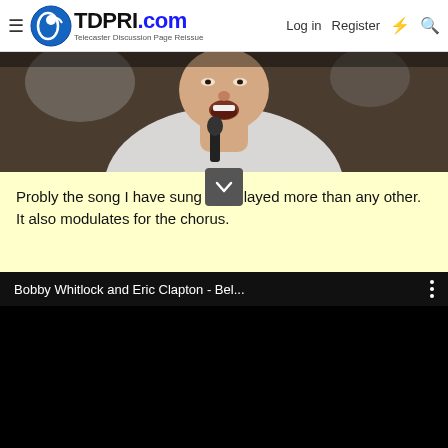TDPRI.com — Telecaster Discussion Page Reissue — Log in | Register
[Figure (photo): Cropped close-up photo of a person (face/neck visible) holding or near a microphone, dark background]
Probly the song I have sung and played more than any other. It also modulates for the chorus.
[Figure (screenshot): Embedded YouTube-style video player, black background, title bar reading 'Bobby Whitlock and Eric Clapton - Bel...' with three-dot menu icon]